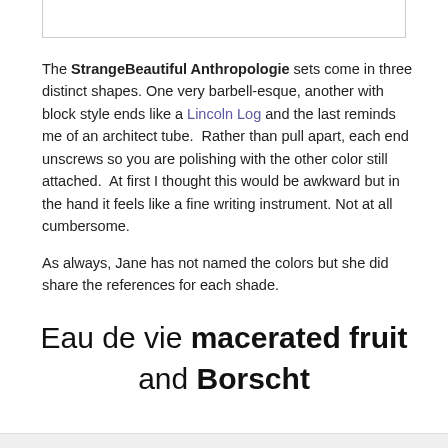The StrangeBeautiful Anthropologie sets come in three distinct shapes. One very barbell-esque, another with block style ends like a Lincoln Log and the last reminds me of an architect tube.  Rather than pull apart, each end unscrews so you are polishing with the other color still attached.  At first I thought this would be awkward but in the hand it feels like a fine writing instrument. Not at all cumbersome.
As always, Jane has not named the colors but she did share the references for each shade.
Eau de vie macerated fruit and Borscht